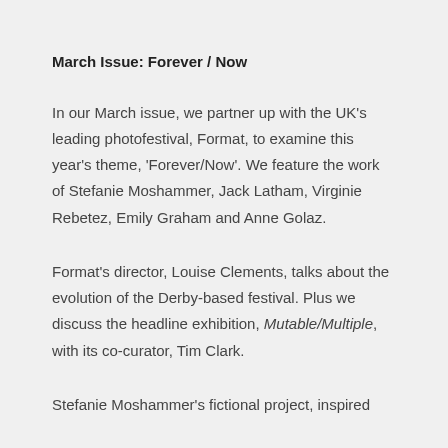March Issue: Forever / Now
In our March issue, we partner up with the UK's leading photofestival, Format, to examine this year's theme, 'Forever/Now'. We feature the work of Stefanie Moshammer, Jack Latham, Virginie Rebetez, Emily Graham and Anne Golaz.
Format's director, Louise Clements, talks about the evolution of the Derby-based festival. Plus we discuss the headline exhibition, Mutable/Multiple, with its co-curator, Tim Clark.
Stefanie Moshammer's fictional project, inspired